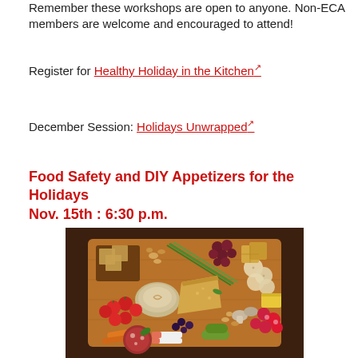Remember these workshops are open to anyone. Non-ECA members are welcome and encouraged to attend!
Register for Healthy Holiday in the Kitchen
December Session: Holidays Unwrapped
Food Safety and DIY Appetizers for the Holidays Nov. 15th : 6:30 p.m.
[Figure (photo): A charcuterie board overhead photo featuring crackers, grapes, hummus, cheese, cherry tomatoes, carrots, pickles, radishes, nuts, salami, crab sticks, and herbs on a wooden board.]